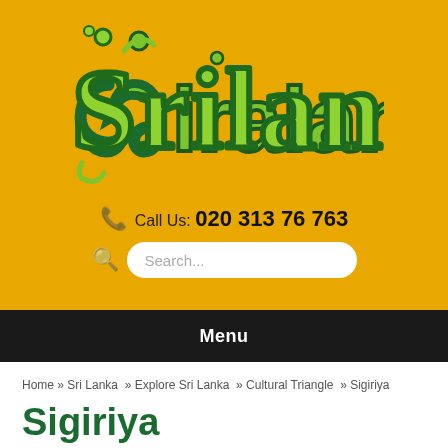[Figure (logo): Srilanka travel website logo with stylized green text 'Srilanka' on yellow/golden background]
Call Us: 020 313 76 763
Search...
Menu
Home » Sri Lanka » Explore Sri Lanka » Cultural Triangle » Sigiriya
Sigiriya
LION ROCK